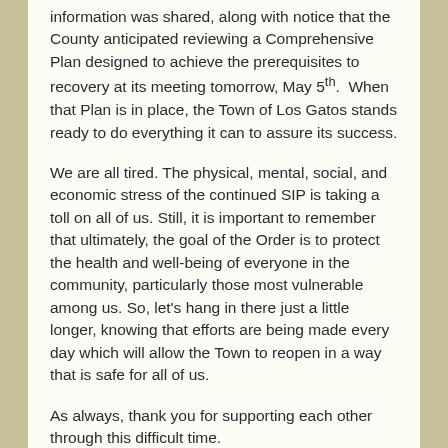information was shared, along with notice that the County anticipated reviewing a Comprehensive Plan designed to achieve the prerequisites to recovery at its meeting tomorrow, May 5th.  When that Plan is in place, the Town of Los Gatos stands ready to do everything it can to assure its success.
We are all tired. The physical, mental, social, and economic stress of the continued SIP is taking a toll on all of us. Still, it is important to remember that ultimately, the goal of the Order is to protect the health and well-being of everyone in the community, particularly those most vulnerable among us. So, let's hang in there just a little longer, knowing that efforts are being made every day which will allow the Town to reopen in a way that is safe for all of us.
As always, thank you for supporting each other through this difficult time.
It takes a Town.
Maaria Jansen